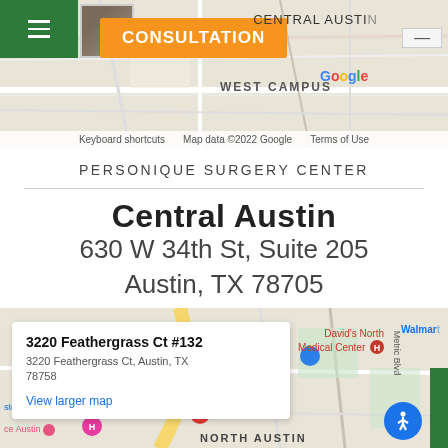[Figure (map): Google Maps screenshot showing Central Austin area with WEST CAMPUS label, orange CONSULTATION button, hamburger menu, and map attribution bar]
PERSONIQUE SURGERY CENTER
Central Austin
630 W 34th St, Suite 205
Austin, TX 78705
[Figure (map): Google Maps screenshot showing North Austin area with info popup for 3220 Feathergrass Ct #132, red pin marker, David's North Medical Center label, Walmart label, accessibility icon, and green strip on right edge]